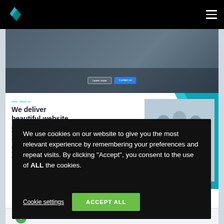[Figure (screenshot): Website screenshot showing a navigation bar with logo and hamburger menu on dark background, an 'About us' section with 'We deliver beautiful website' heading, team photo, skill bars, and a partial bottom section with a green circle icon and contact text.]
We use cookies on our website to give you the most relevant experience by remembering your preferences and repeat visits. By clicking "Accept", you consent to the use of ALL the cookies.
Cookie settings
ACCEPT ALL